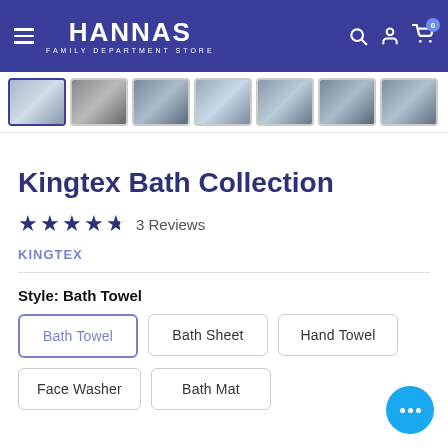[Figure (screenshot): Hannas Family Department Store website header with navy blue background, hamburger menu icon, HANNAS FAMILY DEPARTMENT STORE logo, search icon, account icon, and cart icon with badge showing 0]
[Figure (screenshot): Row of product thumbnail images showing bath collection items, with first thumbnail highlighted with blue border]
Kingtex Bath Collection
★★★★½  3 Reviews
KINGTEX
Style:  Bath Towel
Bath Towel
Bath Sheet
Hand Towel
Face Washer
Bath Mat